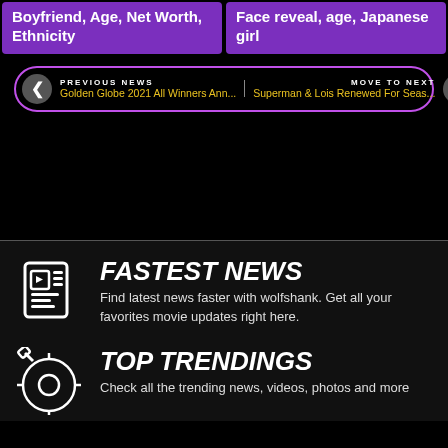Boyfriend, Age, Net Worth, Ethnicity
Face reveal, age, Japanese girl
PREVIOUS NEWS
Golden Globe 2021 All Winners Ann...
MOVE TO NEXT
Superman & Lois Renewed For Seas...
FASTEST NEWS
Find latest news faster with wolfshank. Get all your favorites movie updates right here.
TOP TRENDINGS
Check all the trending news, videos, photos and more